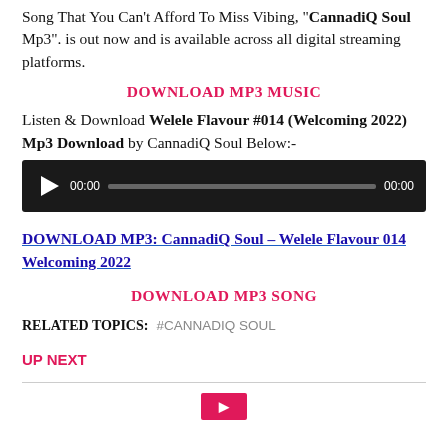Song That You Can't Afford To Miss Vibing, "CannadiQ Soul Mp3". is out now and is available across all digital streaming platforms.
DOWNLOAD MP3 MUSIC
Listen & Download Welele Flavour #014 (Welcoming 2022) Mp3 Download by CannadiQ Soul Below:-
[Figure (other): Audio player widget with play button, time display 00:00, progress bar, and end time 00:00 on black background]
DOWNLOAD MP3: CannadiQ Soul – Welele Flavour 014 Welcoming 2022
DOWNLOAD MP3 SONG
RELATED TOPICS:   #CANNADIQ SOUL
UP NEXT